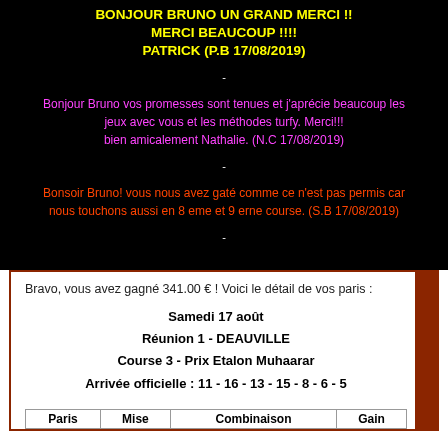BONJOUR BRUNO UN GRAND MERCI !! MERCI BEAUCOUP !!!! PATRICK (P.B 17/08/2019)
-
Bonjour Bruno vos promesses sont tenues et j'aprécie beaucoup les jeux avec vous et les méthodes turfy. Merci!!! bien amicalement Nathalie. (N.C 17/08/2019)
-
Bonsoir Bruno! vous nous avez gaté comme ce n'est pas permis car nous touchons aussi en 8 eme et 9 erne course. (S.B 17/08/2019)
-
Bravo, vous avez gagné 341.00 € ! Voici le détail de vos paris :
Samedi 17 août
Réunion 1 - DEAUVILLE
Course 3 - Prix Etalon Muhaarar
Arrivée officielle : 11 - 16 - 13 - 15 - 8 - 6 - 5
| Paris | Mise | Combinaison | Gain |
| --- | --- | --- | --- |